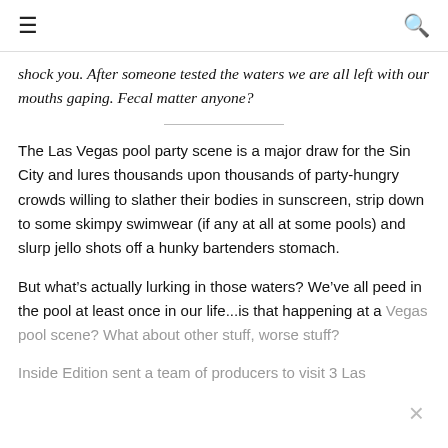≡  🔍
shock you. After someone tested the waters we are all left with our mouths gaping. Fecal matter anyone?
The Las Vegas pool party scene is a major draw for the Sin City and lures thousands upon thousands of party-hungry crowds willing to slather their bodies in sunscreen, strip down to some skimpy swimwear (if any at all at some pools) and slurp jello shots off a hunky bartenders stomach.
But what's actually lurking in those waters? We've all peed in the pool at least once in our life...is that happening at a Vegas pool scene? What about other stuff, worse stuff?
Inside Edition sent a team of producers to visit 3 Las